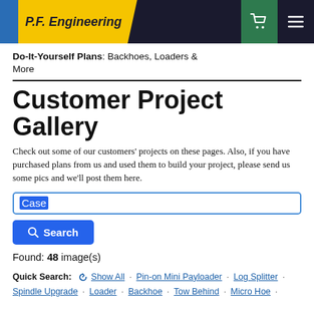P.F. Engineering
Do-It-Yourself Plans: Backhoes, Loaders & More
Customer Project Gallery
Check out some of our customers' projects on these pages. Also, if you have purchased plans from us and used them to build your project, please send us some pics and we'll post them here.
Search input: Case
Found: 48 image(s)
Quick Search: Show All · Pin-on Mini Payloader · Log Splitter · Spindle Upgrade · Loader · Backhoe · Tow Behind · Micro Hoe ·